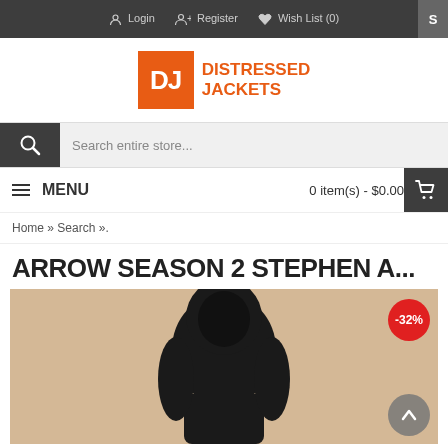Login  Register  Wish List (0)
[Figure (logo): Distressed Jackets logo: orange square with white DJ text, followed by orange DISTRESSED JACKETS text]
Search entire store...
≡ MENU    0 item(s) - $0.00
Home » Search ».
ARROW SEASON 2 STEPHEN A...
[Figure (photo): Product photo showing a dark hooded jacket on a mannequin against a tan/beige background. A red circular badge shows -32% discount. A grey scroll-up button is visible at bottom right.]